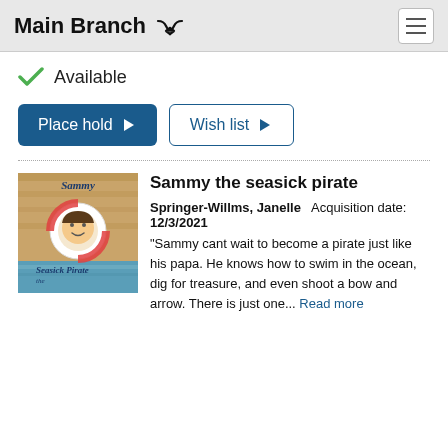Main Branch
Available
Place hold
Wish list
[Figure (illustration): Book cover for 'Sammy the Seasick Pirate' showing a cartoon child in a life preserver ring on a wooden dock background with blue water at the bottom]
Sammy the seasick pirate
Springer-Willms, Janelle   Acquisition date: 12/3/2021
"Sammy cant wait to become a pirate just like his papa. He knows how to swim in the ocean, dig for treasure, and even shoot a bow and arrow. There is just one...